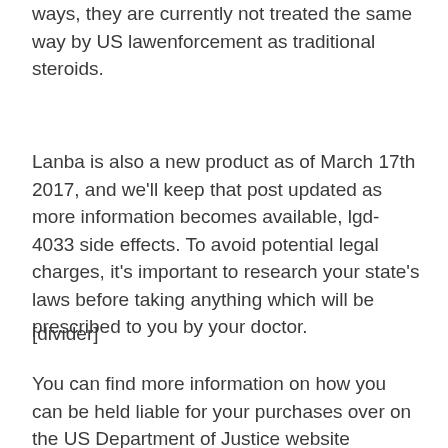ways, they are currently not treated the same way by US lawenforcement as traditional steroids.
Lanba is also a new product as of March 17th 2017, and we'll keep that post updated as more information becomes available, lgd-4033 side effects. To avoid potential legal charges, it's important to research your state's laws before taking anything which will be prescribed to you by your doctor.
[divider]
You can find more information on how you can be held liable for your purchases over on the US Department of Justice website (http://www.justice.gov/usao/policies/policies-and-regulations/banned-pornography-and-adult-materials/banned-pornography-and-adult-materials-and-other-controlled-pornography-related-prohibited-items.)